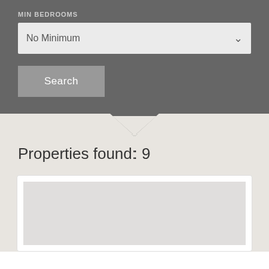MIN BEDROOMS
No Minimum
Search
Properties found: 9